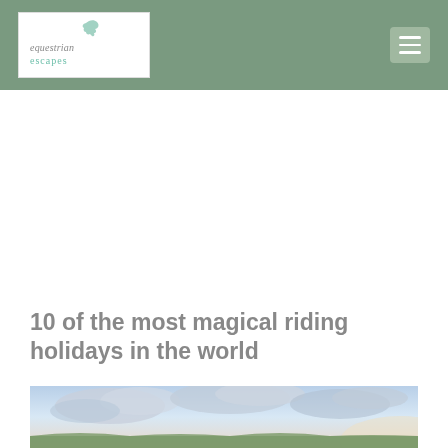equestrian escapes
10 of the most magical riding holidays in the world
[Figure (photo): A scenic outdoor photo showing a dramatic sky with clouds, likely a landscape used as a hero image for an article about equestrian riding holidays.]